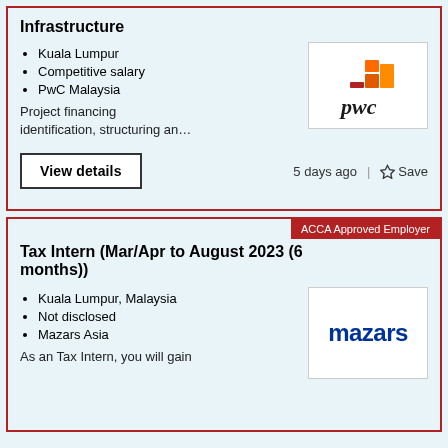Infrastructure
Kuala Lumpur
Competitive salary
PwC Malaysia
[Figure (logo): PwC logo with orange/red stacked blocks and 'pwc' text in italic serif]
Project financing identification, structuring an...
View details
5 days ago | ☆ Save
ACCA Approved Employer
Tax Intern (Mar/Apr to August 2023 (6 months))
Kuala Lumpur, Malaysia
Not disclosed
Mazars Asia
[Figure (logo): Mazars logo in bold blue text on white background]
As an Tax Intern, you will gain